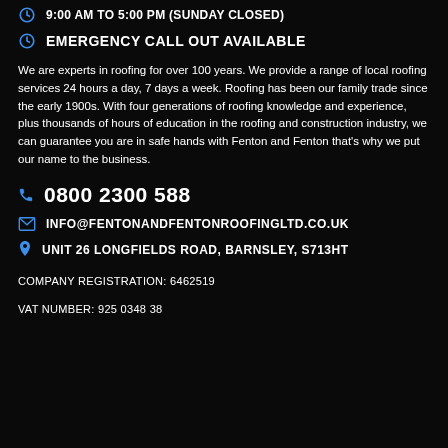9:00 AM TO 5:00 PM (SUNDAY CLOSED)
EMERGENCY CALL OUT AVAILABLE
We are experts in roofing for over 100 years. We provide a range of local roofing services 24 hours a day, 7 days a week. Roofing has been our family trade since the early 1900s. With four generations of roofing knowledge and experience, plus thousands of hours of education in the roofing and construction industry, we can guarantee you are in safe hands with Fenton and Fenton that's why we put our name to the business.
0800 2300 588
INFO@FENTONANDFENTONROOFINGLTD.CO.UK
UNIT 26 LONGFIELDS ROAD, BARNSLEY, S713HT
COMPANY REGISTRATION: 6462519
VAT NUMBER: 925 0348 38